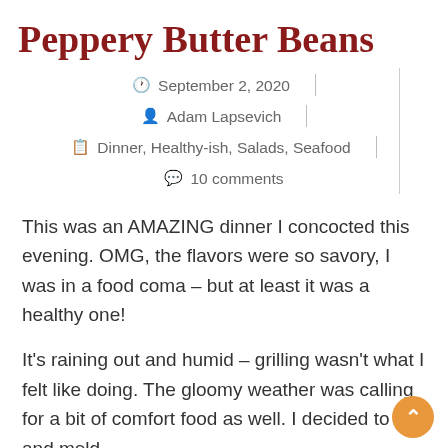Peppery Butter Beans
September 2, 2020
Adam Lapsevich
Dinner, Healthy-ish, Salads, Seafood
10 comments
This was an AMAZING dinner I concocted this evening. OMG, the flavors were so savory, I was in a food coma – but at least it was a healthy one!
It’s raining out and humid – grilling wasn’t what I felt like doing. The gloomy weather was calling for a bit of comfort food as well. I decided to try and meld…